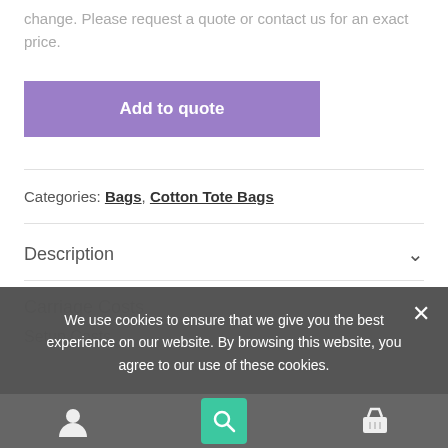change. Please request a quote or contact us for an exact price.
Add to quote
Categories: Bags, Cotton Tote Bags
Description
Carriage Costs
Setup Costs
We use cookies to ensure that we give you the best experience on our website. By browsing this website, you agree to our use of these cookies.